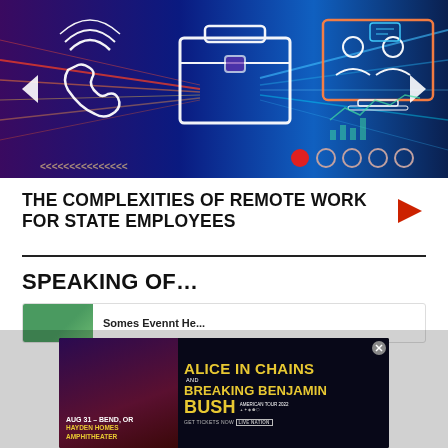[Figure (illustration): Tech/remote work themed banner image with icons of phone, briefcase/work, people on monitor, abstract digital tunnel background in blue/purple tones, navigation arrows on sides, colored dots at bottom right]
THE COMPLEXITIES OF REMOTE WORK FOR STATE EMPLOYEES
SPEAKING OF…
[Figure (other): Partial card/thumbnail row showing a green nature photo thumbnail on left and partial title text on right]
[Figure (advertisement): Concert advertisement: Alice In Chains and Breaking Benjamin Bush American Tour 2022. Aug 31 - Bend, OR, Hayden Homes Amphitheater. Get Tickets Now - Live Nation.]